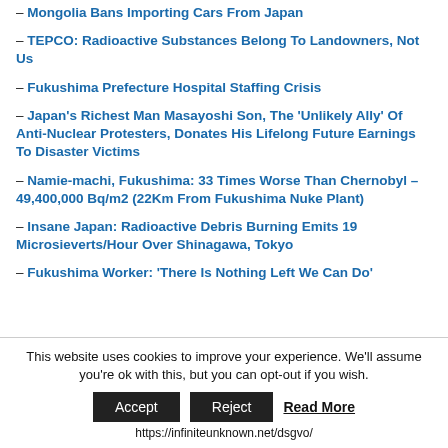– Mongolia Bans Importing Cars From Japan
– TEPCO: Radioactive Substances Belong To Landowners, Not Us
– Fukushima Prefecture Hospital Staffing Crisis
– Japan's Richest Man Masayoshi Son, The 'Unlikely Ally' Of Anti-Nuclear Protesters, Donates His Lifelong Future Earnings To Disaster Victims
– Namie-machi, Fukushima: 33 Times Worse Than Chernobyl – 49,400,000 Bq/m2 (22Km From Fukushima Nuke Plant)
– Insane Japan: Radioactive Debris Burning Emits 19 Microsieverts/Hour Over Shinagawa, Tokyo
– Fukushima Worker: 'There Is Nothing Left We Can Do'
This website uses cookies to improve your experience. We'll assume you're ok with this, but you can opt-out if you wish.
Accept   Reject   Read More
https://infiniteunknown.net/dsgvo/